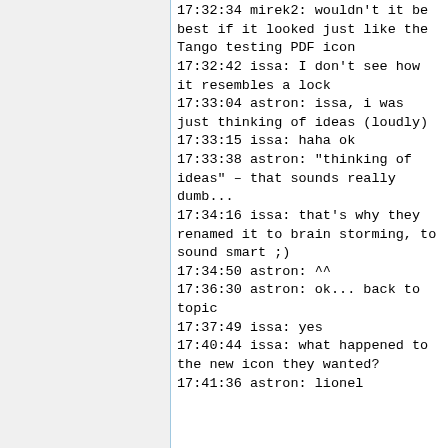17:32:34 mirek2: wouldn't it be best if it looked just like the Tango testing PDF icon
17:32:42 issa: I don't see how it resembles a lock
17:33:04 astron: issa, i was just thinking of ideas (loudly)
17:33:15 issa: haha ok
17:33:38 astron: "thinking of ideas" – that sounds really dumb...
17:34:16 issa: that's why they renamed it to brain storming, to sound smart ;)
17:34:50 astron: ^^
17:36:30 astron: ok... back to topic
17:37:49 issa: yes
17:40:44 issa: what happened to the new icon they wanted?
17:41:36 astron: lionel